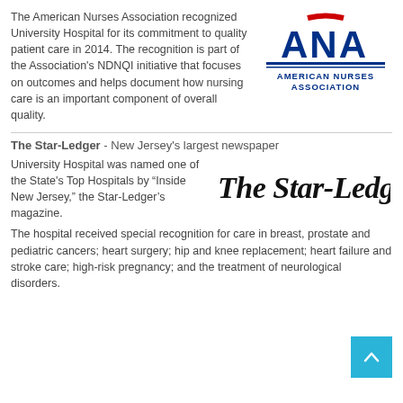The American Nurses Association recognized University Hospital for its commitment to quality patient care in 2014. The recognition is part of the Association's NDNQI initiative that focuses on outcomes and helps document how nursing care is an important component of overall quality.
[Figure (logo): ANA American Nurses Association logo]
The Star-Ledger - New Jersey's largest newspaper
University Hospital was named one of the State's Top Hospitals by “Inside New Jersey,” the Star-Ledger’s magazine.
[Figure (logo): The Star-Ledger newspaper logo in blackletter font]
The hospital received special recognition for care in breast, prostate and pediatric cancers; heart surgery; hip and knee replacement; heart failure and stroke care; high-risk pregnancy; and the treatment of neurological disorders.